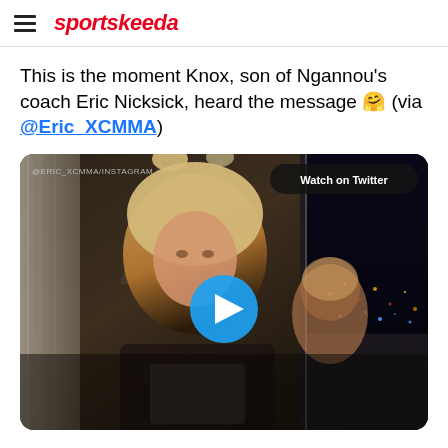sportskeeda
This is the moment Knox, son of Ngannou's coach Eric Nicksick, heard the message 🤗 (via @Eric_XCMMA)
[Figure (screenshot): Embedded video thumbnail showing children in a dimly lit room at night, with a 'Watch on Twitter' button in the top right, a blue play button in the center, and '@ERIC_XCMMA/INSTAGRAM' watermark in the top left.]